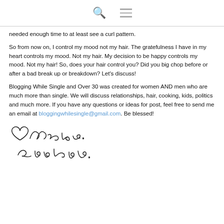[search icon] [menu icon]
needed enough time to at least see a curl pattern.
So from now on, I control my mood not my hair. The gratefulness I have in my heart controls my mood. Not my hair. My decision to be happy controls my mood. Not my hair! So, does your hair control you? Did you big chop before or after a bad break up or breakdown? Let's discuss!
Blogging While Single and Over 30 was created for women AND men who are much more than single. We will discuss relationships, hair, cooking, kids, politics and much more. If you have any questions or ideas for post, feel free to send me an email at bloggingwhilesingle@gmail.com. Be blessed!
[Figure (illustration): Handwritten cursive signature reading 'All is well, You are loved.' with a small heart drawn to the left.]